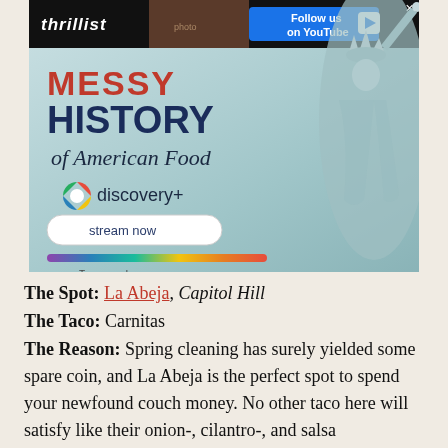[Figure (screenshot): Advertisement for 'Messy History of American Food' on discovery+, with Thrillist logo and Follow us on YouTube button at top, showing Statue of Liberty, rainbow bar, stream now button, and Terms apply text.]
The Spot: La Abeja, Capitol Hill
The Taco: Carnitas
The Reason: Spring cleaning has surely yielded some spare coin, and La Abeja is the perfect spot to spend your newfound couch money. No other taco here will satisfy like their onion-, cilantro-, and salsa